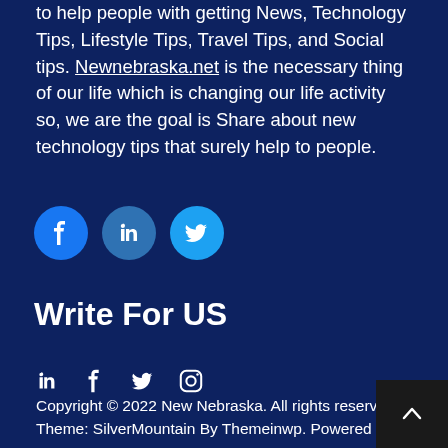to help people with getting News, Technology Tips, Lifestyle Tips, Travel Tips, and Social tips. Newnebraska.net is the necessary thing of our life which is changing our life activity so, we are the goal is Share about new technology tips that surely help to people.
[Figure (infographic): Three social media icon circles: Facebook (blue), LinkedIn (blue), Twitter (light blue)]
Write For US
[Figure (infographic): Four social media icons in a row: LinkedIn, Facebook, Twitter, Instagram]
Copyright © 2022 New Nebraska. All rights reserved. Theme: SilverMountain By Themeinwp. Powered by